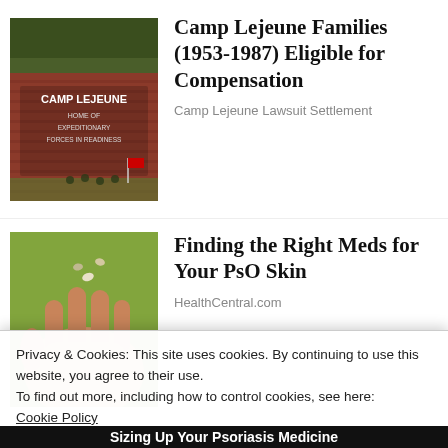[Figure (photo): Camp Lejeune sign with text 'CAMP LEJEUNE HOME OF EXPEDITIONARY FORCES IN READINESS', red brick background with trees]
Camp Lejeune Families (1953-1987) Eligible for Compensation
Camp Lejeune Lawsuit Settlement
[Figure (photo): Close-up of a hand with pills being dropped into it, blurred green background]
Finding the Right Meds for Your PsO Skin
HealthCentral.com
[Figure (photo): Wide strip image: blurred bokeh lights on right, left side shows partial text 'L10' with blue tones]
Privacy & Cookies: This site uses cookies. By continuing to use this website, you agree to their use.
To find out more, including how to control cookies, see here:
Cookie Policy
Close and accept
Sizing Up Your Psoriasis Medicine